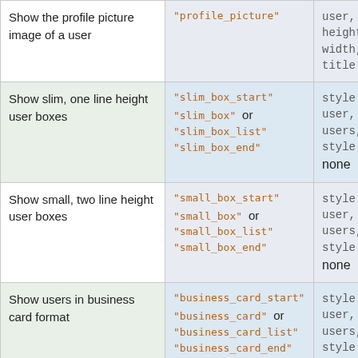| Description | Template key | Parameters |
| --- | --- | --- |
| Show the profile picture image of a user | "profile_picture" | user, height, width, title |
| Show slim, one line height user boxes | "slim_box_start"
"slim_box" or
"slim_box_list"
"slim_box_end" | style
user, style
users, style
none |
| Show small, two line height user boxes | "small_box_start"
"small_box" or
"small_box_list"
"small_box_end" | style
user, style
users, style
none |
| Show users in business card format | "business_card_start"
"business_card" or
"business_card_list"
"business_card_end" | style
user, style
users, style
none |
| Show a selector to pick a user, ... | "select_one_user" | name, selected, users |